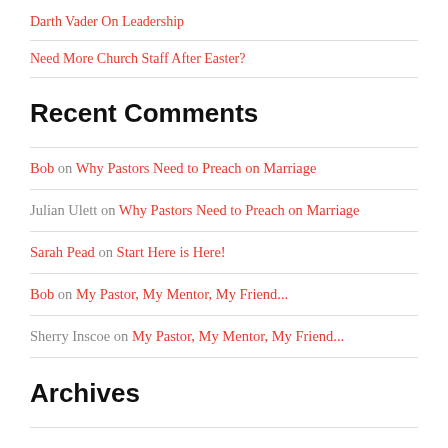Darth Vader On Leadership
Need More Church Staff After Easter?
Recent Comments
Bob on Why Pastors Need to Preach on Marriage
Julian Ulett on Why Pastors Need to Preach on Marriage
Sarah Pead on Start Here is Here!
Bob on My Pastor, My Mentor, My Friend...
Sherry Inscoe on My Pastor, My Mentor, My Friend...
Archives